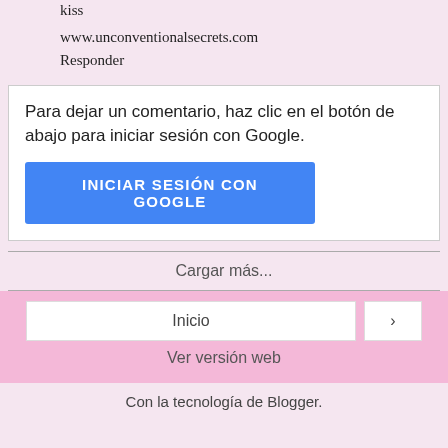kiss
www.unconventionalsecrets.com
Responder
Para dejar un comentario, haz clic en el botón de abajo para iniciar sesión con Google.
INICIAR SESIÓN CON GOOGLE
Cargar más...
Inicio
›
Ver versión web
Con la tecnología de Blogger.